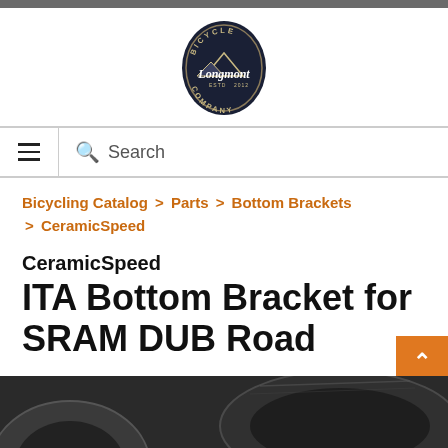[Figure (logo): Bicycle Longmont Company circular badge logo in dark navy/black with white text and mountain graphic]
Search
Bicycling Catalog > Parts > Bottom Brackets > CeramicSpeed
CeramicSpeed ITA Bottom Bracket for SRAM DUB Road
1 Review  Write a Review
[Figure (photo): Dark metal bicycle bottom bracket component, partially visible at bottom of page]